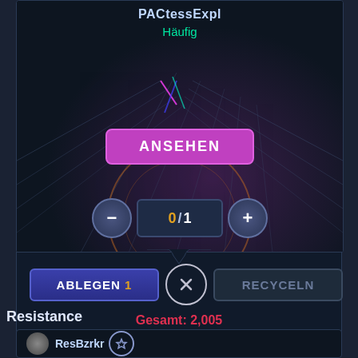[Figure (screenshot): Game UI card panel with dark sci-fi background showing grid lines and purple glow. Title 'PACtessExpl' in light blue, subtitle 'Häufig' in green. Purple 'ANSEHEN' button. Quantity selector showing 0/1 with minus and plus buttons.]
ABLEGEN 1
RECYCELN
Gesamt: 2,005
Resistance
[Figure (screenshot): Bottom card panel with avatar circle and username ResBzrkr with star badge.]